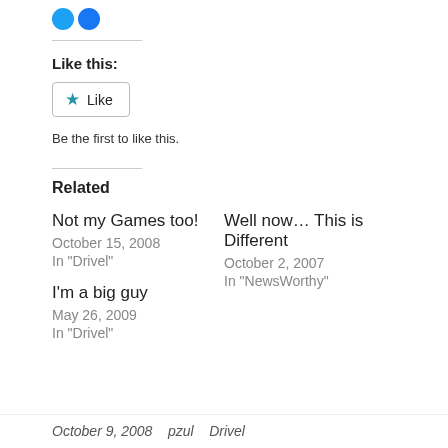[Figure (illustration): Social media share icons (blue circles) at top of page]
Like this:
[Figure (screenshot): Like button widget with blue star icon and 'Like' text]
Be the first to like this.
Related
Not my Games too!
October 15, 2008
In "Drivel"
Well now… This is Different
October 2, 2007
In "NewsWorthy"
I'm a big guy
May 26, 2009
In "Drivel"
October 9, 2008    pzul    Drivel